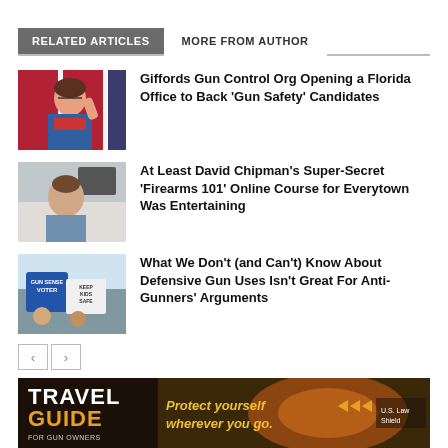RELATED ARTICLES
MORE FROM AUTHOR
[Figure (photo): Woman with red scarf gesturing in front of American flags]
Giffords Gun Control Org Opening a Florida Office to Back ‘Gun Safety’ Candidates
[Figure (photo): Man in grey shirt speaking on camera indoors]
At Least David Chipman’s Super-Secret ‘Firearms 101’ Online Course for Everytown Was Entertaining
[Figure (photo): Protesters holding Gun Sense Voter and Keep Kids Safe signs]
What We Don’t (and Can’t) Know About Defensive Gun Uses Isn’t Great For Anti-Gunners’ Arguments
[Figure (photo): Travel Guide for Gun Owners advertisement banner with US Law Shield branding]